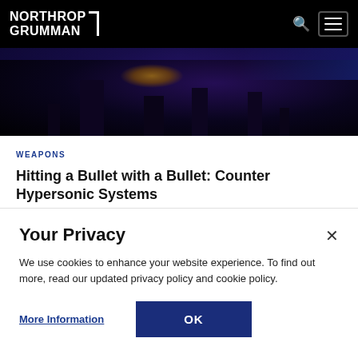NORTHROP GRUMMAN
[Figure (photo): Dark hero image showing military/weapons machinery silhouettes with blue and amber lighting]
WEAPONS
Hitting a Bullet with a Bullet: Counter Hypersonic Systems
> Learn more
Your Privacy
We use cookies to enhance your website experience. To find out more, read our updated privacy policy and cookie policy.
More Information   OK